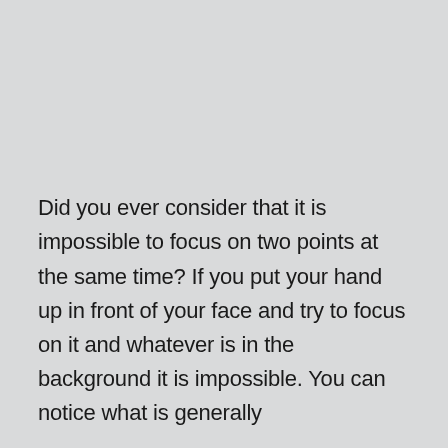Did you ever consider that it is impossible to focus on two points at the same time? If you put your hand up in front of your face and try to focus on it and whatever is in the background it is impossible. You can notice what is generally